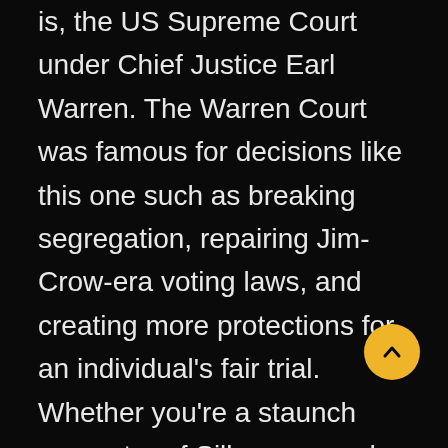is, the US Supreme Court under Chief Justice Earl Warren. The Warren Court was famous for decisions like this one such as breaking segregation, repairing Jim-Crow-era voting laws, and creating more protections for an individual's fair trial. Whether you're a staunch supporter of Silberman and radical critics of the free speech protections in The New York Times Co. v Sullivan or a journalist whose work is protected by them, it is nevertheless difficult to criticize the Warren Court's credibility. Their application of constitutional framework to modern problems became some of the most famous landmarks in Supreme Court history, and the court's years under Warren met the